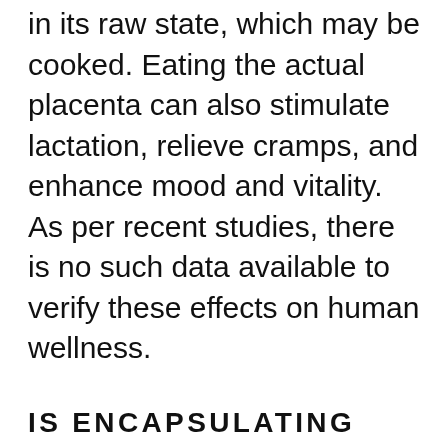in its raw state, which may be cooked. Eating the actual placenta can also stimulate lactation, relieve cramps, and enhance mood and vitality. As per recent studies, there is no such data available to verify these effects on human wellness.
IS ENCAPSULATING THE PLACENTA HEALTHY?
At first sight, there may not appear to be any significant disadvantages to placenta encapsulating. However, consuming placenta tablets can offer severe health hazards, in part because no regulations for the encapsulating procedure exist